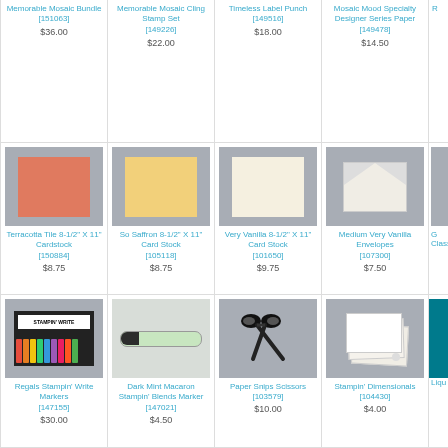| Memorable Mosaic Bundle [151063] $36.00 | Memorable Mosaic Cling Stamp Set [149226] $22.00 | Timeless Label Punch [149516] $18.00 | Mosaic Mood Specialty Designer Series Paper [149478] $14.50 | R... |
| Terracotta Tile 8-1/2" X 11" Cardstock [150884] $8.75 | So Saffron 8-1/2" X 11" Card Stock [105118] $8.75 | Very Vanilla 8-1/2" X 11" Card Stock [101650] $9.75 | Medium Very Vanilla Envelopes [107300] $7.50 | G... |
| Regals Stampin' Write Markers [147155] $30.00 | Dark Mint Macaron Stampin' Blends Marker [147021] $4.50 | Paper Snips Scissors [103579] $10.00 | Stampin' Dimensionals [104430] $4.00 | Liqu... |